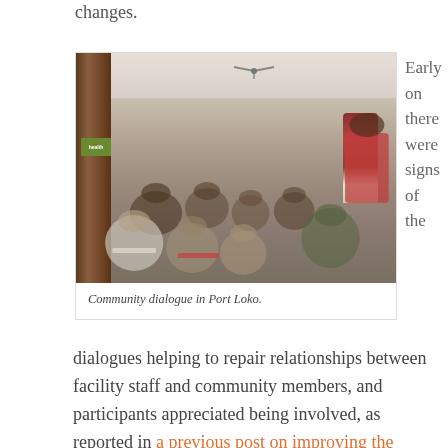changes.
[Figure (photo): Community dialogue session in Port Loko. People seated in a circle in a room with bookshelves on the left side wall. A person in a red shirt stands at the right gesturing to the group.]
Community dialogue in Port Loko.
Early on there were signs of the
dialogues helping to repair relationships between facility staff and community members, and participants appreciated being involved, as reported in a previous post on improving the quality of health care services and facilities. But